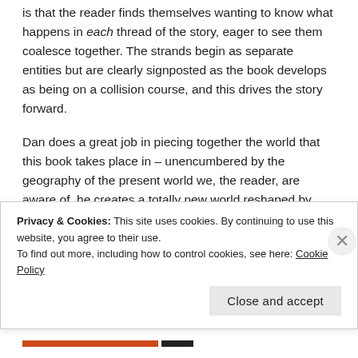is that the reader finds themselves wanting to know what happens in each thread of the story, eager to see them coalesce together. The strands begin as separate entities but are clearly signposted as the book develops as being on a collision course, and this drives the story forward.
Dan does a great job in piecing together the world that this book takes place in – unencumbered by the geography of the present world we, the reader, are aware of, he creates a totally new world reshaped by
Privacy & Cookies: This site uses cookies. By continuing to use this website, you agree to their use.
To find out more, including how to control cookies, see here: Cookie Policy
Close and accept